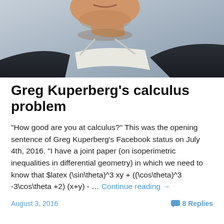[Figure (photo): Close-up photo of a man's lower face and neck, wearing a dark suit jacket and white collared shirt, against a light background.]
Greg Kuperberg’s calculus problem
"How good are you at calculus?" This was the opening sentence of Greg Kuperberg's Facebook status on July 4th, 2016. "I have a joint paper (on isoperimetric inequalities in differential geometry) in which we need to know that $latex (\sin\theta)^3 xy + ((\cos\theta)^3 -3\cos\theta +2) (x+y) - … Continue reading →
August 3, 2016
8 Replies